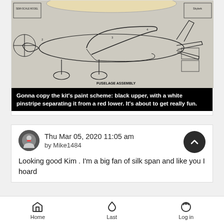[Figure (photo): Blueprint/technical drawing of a model airplane (fuselage assembly) laid out on a flat surface, with a model part visible at top. The blueprint shows detailed side-view schematic of the aircraft with annotations and part numbers.]
Gonna copy the kit's paint scheme: black upper, with a white pinstripe separating it from a red lower.  It's about to get really fun.
Thu Mar 05, 2020 11:05 am
by Mike1484
Looking good Kim . I'm a big fan of silk span and like you I hoard
Home   Last   Log in